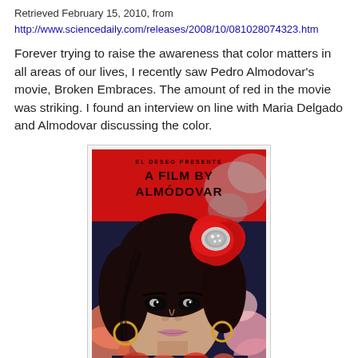Retrieved February 15, 2010, from
http://www.sciencedaily.com/releases/2008/10/081028074323.htm
Forever trying to raise the awareness that color matters in all areas of our lives, I recently saw Pedro Almodovar's movie, Broken Embraces. The amount of red in the movie was striking. I found an interview on line with Maria Delgado and Almodovar discussing the color.
[Figure (illustration): Movie poster for 'Broken Embraces' by Pedro Almodovar. Red background with text 'EL DESEO PRESENTS A FILM BY ALMODOVAR'. A woman with dark hair and bold makeup, wearing a floral dress, with a large red poppy flower in her hair. Colorful floral patterns around her.]